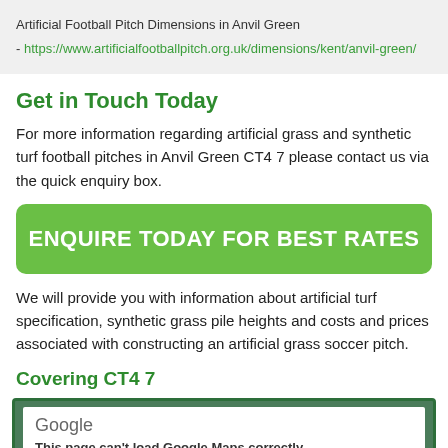Artificial Football Pitch Dimensions in Anvil Green - https://www.artificialfootballpitch.org.uk/dimensions/kent/anvil-green/
Get in Touch Today
For more information regarding artificial grass and synthetic turf football pitches in Anvil Green CT4 7 please contact us via the quick enquiry box.
ENQUIRE TODAY FOR BEST RATES
We will provide you with information about artificial turf specification, synthetic grass pile heights and costs and prices associated with constructing an artificial grass soccer pitch.
Covering CT4 7
[Figure (map): Google Maps embed showing an error: 'This page can't load Google Maps correctly.']